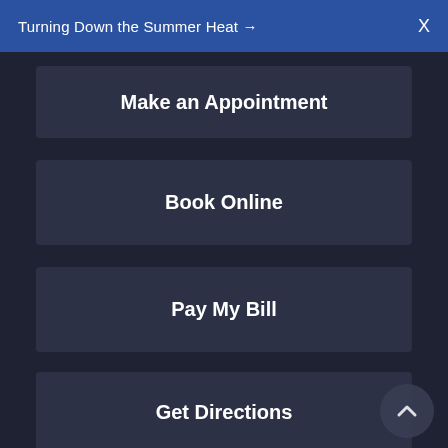Turning Down the Summer Heat →  X
Make an Appointment
Book Online
Pay My Bill
Get Directions
Donate